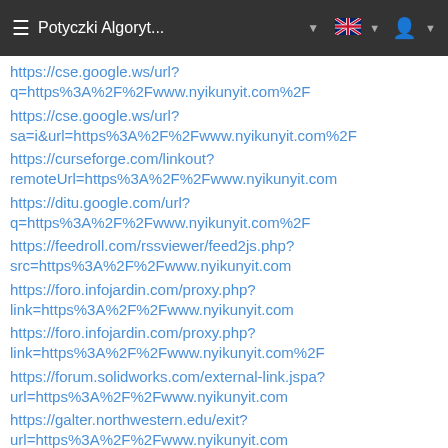≡  Potyczki Algoryt...  ▼  [UK flag] ▼  [user icon] ▼
https://cse.google.ws/url?q=https%3A%2F%2Fwww.nyikunyit.com%2F
https://cse.google.ws/url?sa=i&url=https%3A%2F%2Fwww.nyikunyit.com%2F
https://curseforge.com/linkout?remoteUrl=https%3A%2F%2Fwww.nyikunyit.com
https://ditu.google.com/url?q=https%3A%2F%2Fwww.nyikunyit.com%2F
https://feedroll.com/rssviewer/feed2js.php?src=https%3A%2F%2Fwww.nyikunyit.com
https://foro.infojardin.com/proxy.php?link=https%3A%2F%2Fwww.nyikunyit.com
https://foro.infojardin.com/proxy.php?link=https%3A%2F%2Fwww.nyikunyit.com%2F
https://forum.solidworks.com/external-link.jspa?url=https%3A%2F%2Fwww.nyikunyit.com
https://galter.northwestern.edu/exit?url=https%3A%2F%2Fwww.nyikunyit.com
https://georgewbushlibrary.smu.edu/exit.aspx?url=https%3A%2F%2Fwww.nyikunyit.com%2F